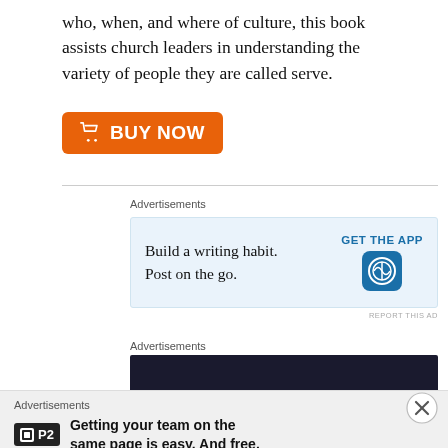who, when, and where of culture, this book assists church leaders in understanding the variety of people they are called serve.
[Figure (other): Orange BUY NOW button with shopping cart icon]
Advertisements
[Figure (other): WordPress ad: Build a writing habit. Post on the go. GET THE APP with WordPress logo]
REPORT THIS AD
Advertisements
[Figure (other): Dark/black advertisement banner]
Advertisements
[Figure (other): P2 ad: Getting your team on the same page is easy. And free.]
REPORT THIS AD